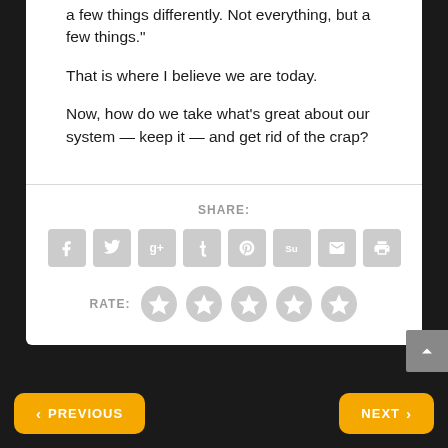a few things differently. Not everything, but a few things.”
That is where I believe we are today.
Now, how do we take what’s great about our system — keep it — and get rid of the crap?
[Figure (infographic): Social share buttons: Facebook, Twitter, Google+, Tumblr, Pinterest, StumbleUpon, Email, Print]
[Figure (infographic): Five star rating circles (all empty/grey)]
< PREVIOUS    NEXT >